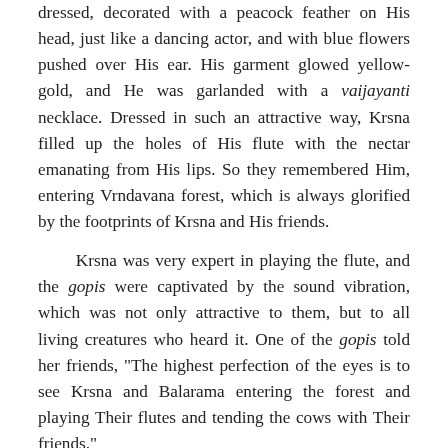dressed, decorated with a peacock feather on His head, just like a dancing actor, and with blue flowers pushed over His ear. His garment glowed yellow-gold, and He was garlanded with a vaijayanti necklace. Dressed in such an attractive way, Krsna filled up the holes of His flute with the nectar emanating from His lips. So they remembered Him, entering Vrndavana forest, which is always glorified by the footprints of Krsna and His friends.
Krsna was very expert in playing the flute, and the gopis were captivated by the sound vibration, which was not only attractive to them, but to all living creatures who heard it. One of the gopis told her friends, "The highest perfection of the eyes is to see Krsna and Balarama entering the forest and playing Their flutes and tending the cows with Their friends."
Persons who are constantly engaged in the transcendental meditation of seeing Krsna, internally and externally, by thinking of Him playing the flute and entering